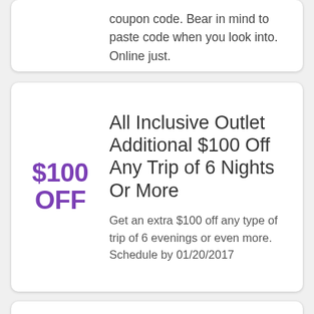coupon code. Bear in mind to paste code when you look into. Online just.
All Inclusive Outlet Additional $100 Off Any Trip of 6 Nights Or More
Get an extra $100 off any type of trip of 6 evenings or even more. Schedule by 01/20/2017